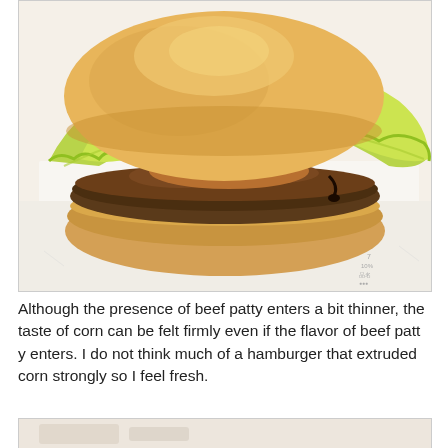[Figure (photo): A hamburger with a golden bun, large green lettuce leaves, and a beef patty, placed on white wrapper paper. Close-up food photo.]
Although the presence of beef patty enters a bit thinner, the taste of corn can be felt firmly even if the flavor of beef patty enters. I do not think much of a hamburger that extruded corn strongly so I feel fresh.
[Figure (photo): Partial view of another food item on white wrapper paper, cropped at bottom of page.]